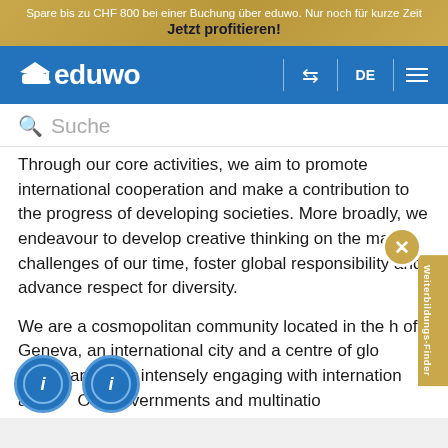Spare bis zu CHF 800 bei einer Buchung über eduwo. Nur noch für kurze Zeit Jetzt profitieren!
[Figure (logo): eduwo logo with graduation cap icon on blue navigation bar with language selector DE and menu icon]
Suche
Through our core activities, we aim to promote international cooperation and make a contribution to the progress of developing societies. More broadly, we endeavour to develop creative thinking on the major challenges of our time, foster global responsibility and advance respect for diversity.
We are a cosmopolitan community located in the h of Geneva, an international city and a centre of glo governance. By intensely engaging with internation ations O's, governments and multinatio ies ticipate in global discussions an prepare future policy-makers to lead tomorrow's wo